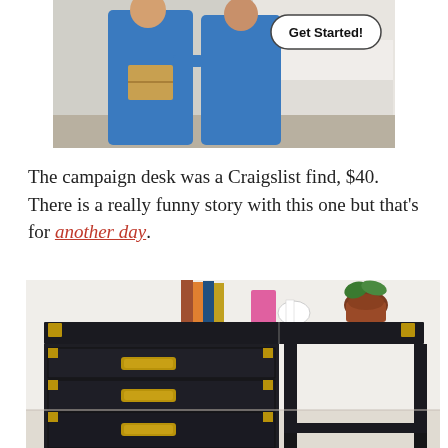[Figure (photo): Two people in blue shirts, one holding a cardboard box, with a 'Get Started!' button overlay in the upper right corner.]
The campaign desk was a Craigslist find, $40. There is a really funny story with this one but that's for another day.
[Figure (photo): A black campaign-style desk with gold hardware and three drawers on the left side, open frame on the right, with decorative items on top including books, a white horse figurine, and a copper pot plant.]